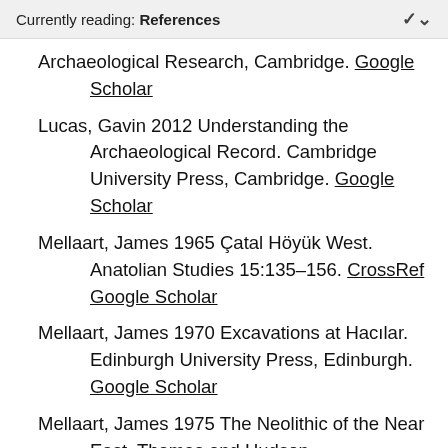Currently reading: References
Archaeological Research, Cambridge. Google Scholar
Lucas, Gavin 2012 Understanding the Archaeological Record. Cambridge University Press, Cambridge. Google Scholar
Mellaart, James 1965 Çatal Höyük West. Anatolian Studies 15:135–156. CrossRef  Google Scholar
Mellaart, James 1970 Excavations at Hacılar. Edinburgh University Press, Edinburgh. Google Scholar
Mellaart, James 1975 The Neolithic of the Near East. Thames and Hudson,